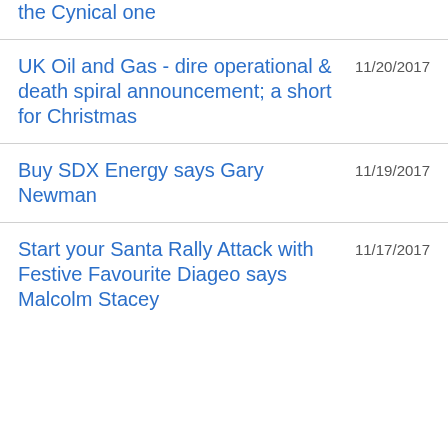the Cynical one
UK Oil and Gas - dire operational & death spiral announcement; a short for Christmas 11/20/2017
Buy SDX Energy says Gary Newman 11/19/2017
Start your Santa Rally Attack with Festive Favourite Diageo says Malcolm Stacey 11/17/2017